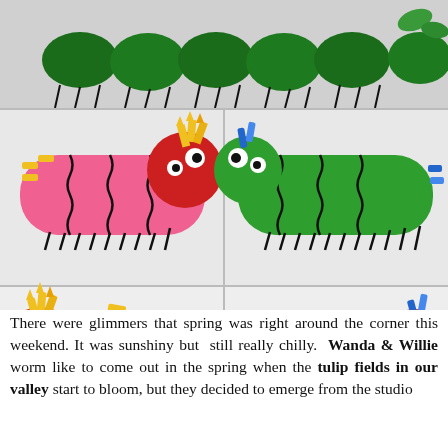[Figure (photo): Collage of four colorful caterpillar stuffed animal/pillow toys on white background. Top strip shows dark green caterpillar. Middle-left: pink caterpillar with red head and yellow crown antennae. Middle-right: green caterpillar with green head and blue antennae. Bottom-left: orange striped caterpillar with red head and yellow crown antennae. Bottom-right: multi-color polka-dot caterpillar with colorful head and blue antennae.]
There were glimmers that spring was right around the corner this weekend. It was sunshiny but still really chilly. Wanda & Willie worm like to come out in the spring when the tulip fields in our valley start to bloom, but they decided to emerge from the studio